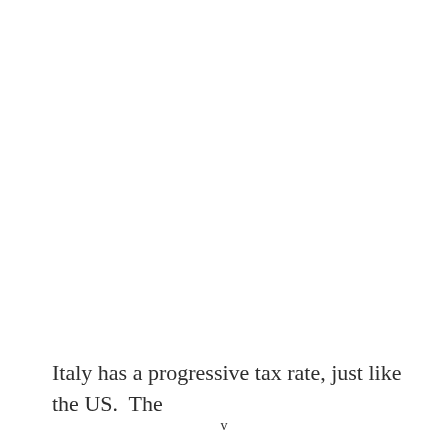Italy has a progressive tax rate, just like the US.  The
v